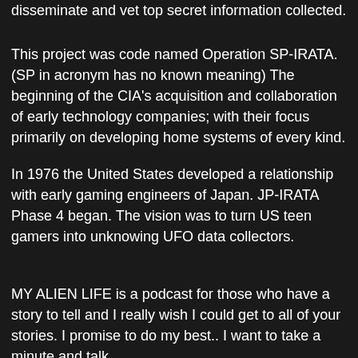disseminate and vet top secret information collected.
This project was code named Operation SP-IRATA.  (SP in acronym has no known meaning)  The beginning of the CIA’s acquisition and collaboration of early technology companies; with their focus primarily on developing home systems of every kind.
In 1976 the United States developed a relationship with early gaming engineers of Japan.  JP-IRATA Phase 4 began.  The vision was to turn US teen gamers into unknowing UFO data collectors.
MY ALIEN LIFE is a podcast for those who have a story to tell and I really wish I could get to all of your stories. I promise to do my best.. I want to take a minute and talk